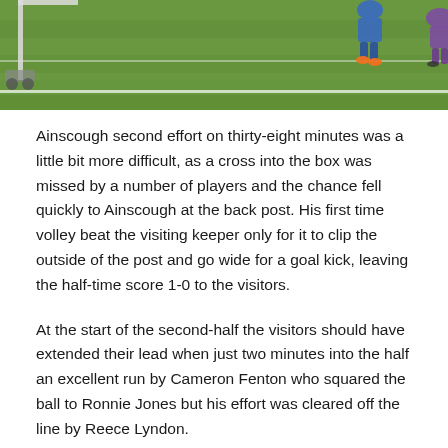[Figure (photo): Sports photo showing football/soccer match action on a grass field, partial view of players and goal post]
Ainscough second effort on thirty-eight minutes was a little bit more difficult, as a cross into the box was missed by a number of players and the chance fell quickly to Ainscough at the back post. His first time volley beat the visiting keeper only for it to clip the outside of the post and go wide for a goal kick, leaving the half-time score 1-0 to the visitors.
At the start of the second-half the visitors should have extended their lead when just two minutes into the half an excellent run by Cameron Fenton who squared the ball to Ronnie Jones but his effort was cleared off the line by Reece Lyndon.